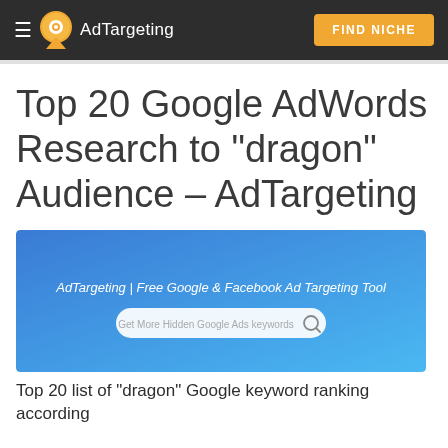☰ AdTargeting   FIND NICHE
Top 20 Google AdWords Research to "dragon" Audience – AdTargeting
[Figure (screenshot): Screenshot of AdTargeting website showing blue gradient background with text 'AdTargeting | Free Google & Facebook Ad Targeting Tool' and a search bar saying 'Get More Hidden Google Ads keywords']
Top 20 list of "dragon" Google keyword ranking according